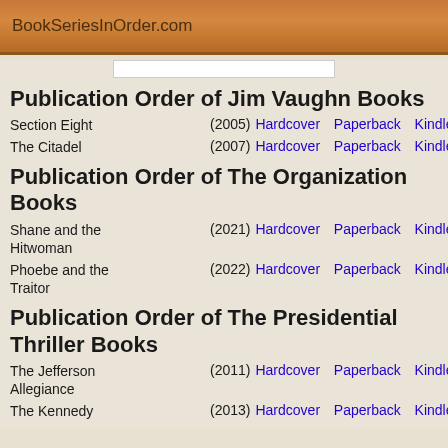BookSeriesInOrder.com
Publication Order of Jim Vaughn Books
Section Eight (2005) Hardcover Paperback Kindle
The Citadel (2007) Hardcover Paperback Kindle
Publication Order of The Organization Books
Shane and the Hitwoman (2021) Hardcover Paperback Kindle
Phoebe and the Traitor (2022) Hardcover Paperback Kindle
Publication Order of The Presidential Thriller Books
The Jefferson Allegiance (2011) Hardcover Paperback Kindle
The Kennedy (2013) Hardcover Paperback Kindle